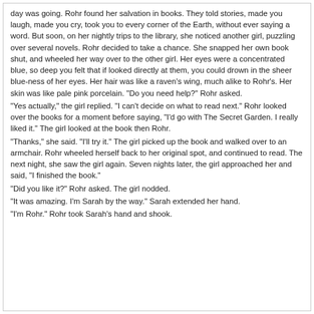day was going. Rohr found her salvation in books. They told stories, made you laugh, made you cry, took you to every corner of the Earth, without ever saying a word. But soon, on her nightly trips to the library, she noticed another girl, puzzling over several novels. Rohr decided to take a chance. She snapped her own book shut, and wheeled her way over to the other girl. Her eyes were a concentrated blue, so deep you felt that if looked directly at them, you could drown in the sheer blue-ness of her eyes. Her hair was like a raven's wing, much alike to Rohr's. Her skin was like pale pink porcelain. "Do you need help?" Rohr asked.
"Yes actually," the girl replied. "I can't decide on what to read next." Rohr looked over the books for a moment before saying, "I'd go with The Secret Garden. I really liked it." The girl looked at the book then Rohr.
"Thanks," she said. "I'll try it." The girl picked up the book and walked over to an armchair. Rohr wheeled herself back to her original spot, and continued to read. The next night, she saw the girl again. Seven nights later, the girl approached her and said, "I finished the book."
"Did you like it?" Rohr asked. The girl nodded.
"It was amazing. I'm Sarah by the way." Sarah extended her hand.
"I'm Rohr." Rohr took Sarah's hand and shook.